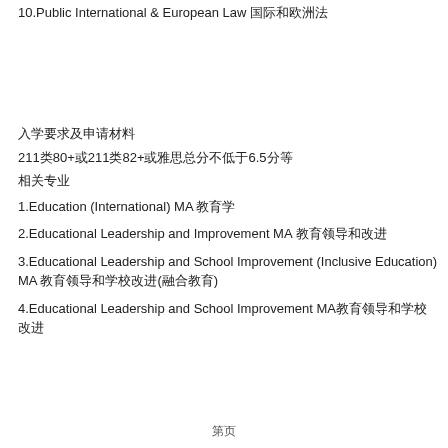10.Public International & European Law 国际和欧洲法
入学要求及申请材料
211类80+或211类82+或雅思总分不低于6.5分等
相关专业
1.Education (International) MA 教育学
2.Educational Leadership and Improvement MA 教育领导和改进
3.Educational Leadership and School Improvement (Inclusive Education) MA 教育领导和学校改进(融合教育)
4.Educational Leadership and School Improvement MA教育领导和学校改进
第页